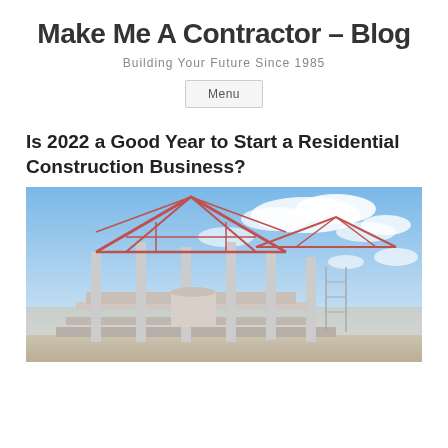Make Me A Contractor – Blog
Building Your Future Since 1985
Menu
Is 2022 a Good Year to Start a Residential Construction Business?
[Figure (photo): Construction site showing steel framework and roof structure of a building under construction, with blue sky and clouds in background]